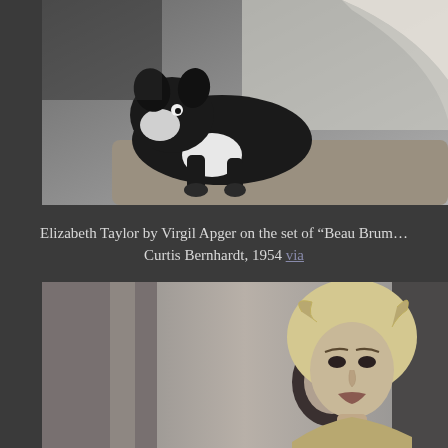[Figure (photo): Black and white photograph of a Boston Terrier dog leaning on an upholstered chair or ottoman, with a person partially visible in the background. Vintage photograph, possibly from a movie set.]
Elizabeth Taylor by Virgil Apger on the set of "Beau Brummell" Curtis Bernhardt, 1954 via
[Figure (photo): Black and white photograph showing a blonde woman with curled hair in the foreground and another person with dark hair in the background, in what appears to be an indoor setting with architectural elements visible.]